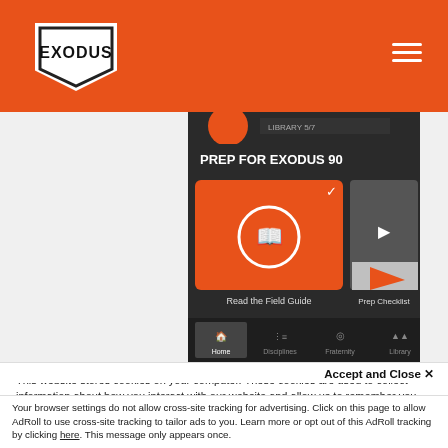EXODUS (logo/header bar with navigation)
[Figure (screenshot): Mobile app screenshot showing 'PREP FOR EXODUS 90' screen with options 'Read the Field Guide' and 'Prep Checklist', and bottom navigation bar with Home, Disciplines, Fraternity, Library tabs.]
This website stores cookies on your computer. These cookies are used to collect information about how you interact with our website and allow us to remember you. We use this information in order to improve and customize your browsing experience and for analytics and metrics about our visitors both on this website and other media. To find out more about the cookies we use, see our Privacy Policy.
Accept and Close ✕
Your browser settings do not allow cross-site tracking for advertising. Click on this page to allow AdRoll to use cross-site tracking to tailor ads to you. Learn more or opt out of this AdRoll tracking by clicking here. This message only appears once.